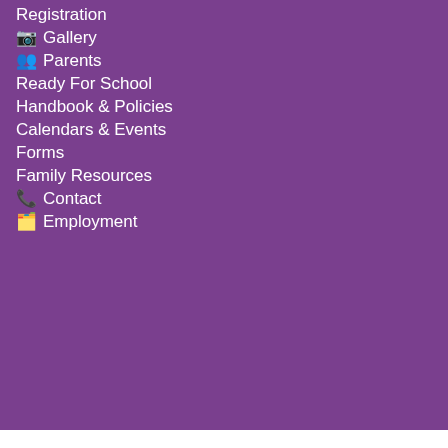Registration
📷 Gallery
👥 Parents
Ready For School
Handbook & Policies
Calendars & Events
Forms
Family Resources
📞 Contact
🗂️ Employment